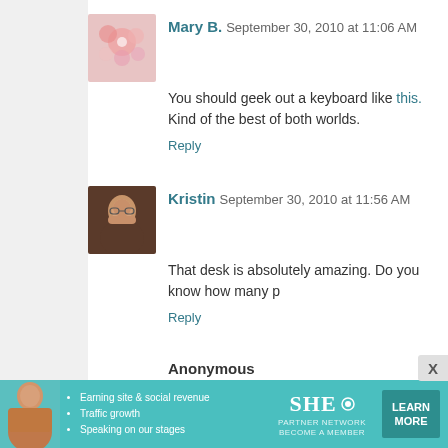Mary B. September 30, 2010 at 11:06 AM — You should geek out a keyboard like this. Kind of the best of both worlds. Reply
Kristin September 30, 2010 at 11:56 AM — That desk is absolutely amazing. Do you know how many p... Reply
Anonymous September 30, 2010 at 12:31 PM — HOKEY PETE! That is amazing! You are sooo fortunate to... sharing the work (but you already know that)! Keep it up--lo... Reply
Betty September 30, 2010 at 12:32 PM — Jen - you rock! I was so tickled to see this post, as I...
[Figure (infographic): SHE Partner Network advertisement banner: woman photo, bullet points (Earning site & social revenue, Traffic growth, Speaking on our stages), SHE logo with PARTNER NETWORK / BECOME A MEMBER, LEARN MORE button.]